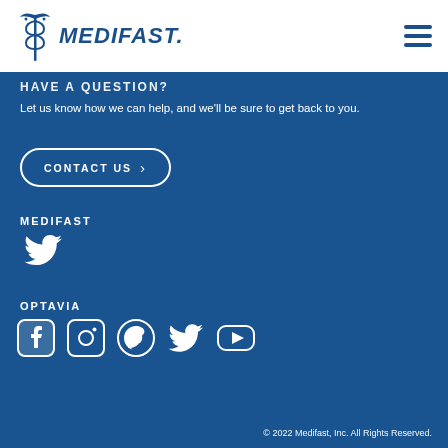[Figure (logo): Medifast logo with caduceus symbol and MEDIFAST wordmark in dark blue]
HAVE A QUESTION?
Let us know how we can help, and we'll be sure to get back to you.
CONTACT US ›
MEDIFAST
[Figure (infographic): Twitter/X social media icon for Medifast]
OPTAVIA
[Figure (infographic): Social media icons for OPTAVIA: Facebook, Instagram, Pinterest, Twitter, YouTube]
© 2022 Medifast, Inc. All Rights Reserved.